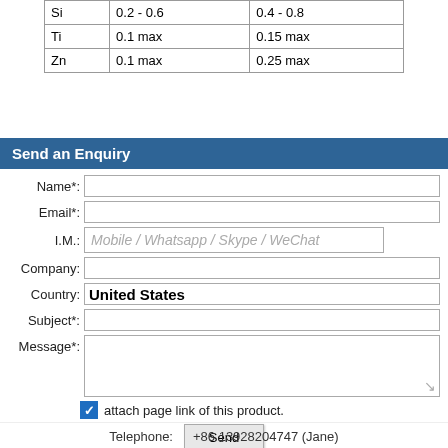| Si | 0.2 - 0.6 | 0.4 - 0.8 |
| Ti | 0.1 max | 0.15 max |
| Zn | 0.1 max | 0.25 max |
Send an Enquiry
Name*: [input] Email*: [input] I.M.: Mobile / Whatsapp / Skype / WeChat [input] Company: [input] Country: United States [input] Subject*: [input] Message*: [textarea] attach page link of this product. Send
Telephone:    +86 13928204747 (Jane)